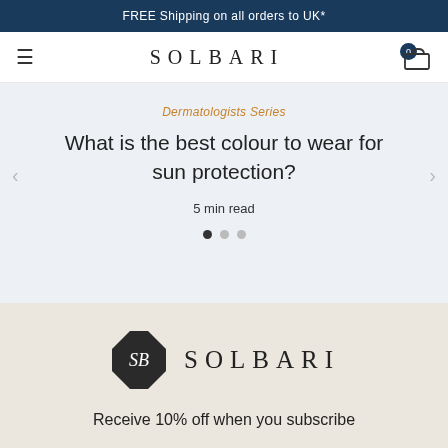FREE Shipping on all orders to UK*
SOLBARI
Dermatologists Series
What is the best colour to wear for sun protection?
5 min read
[Figure (logo): SOLBARI logo with octagon badge and wordmark]
Receive 10% off when you subscribe